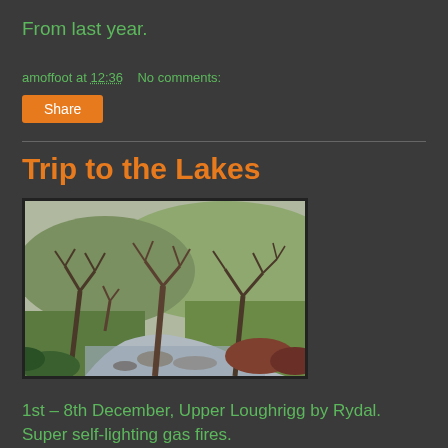From last year.
amoffoot at 12:36   No comments:
Share
Trip to the Lakes
[Figure (photo): Outdoor nature photo showing bare winter trees along a rocky stream or river, with green grass and shrubs on either side. A rural landscape scene, possibly the Lake District.]
1st – 8th December, Upper Loughrigg by Rydal. Super self-lighting gas fires.